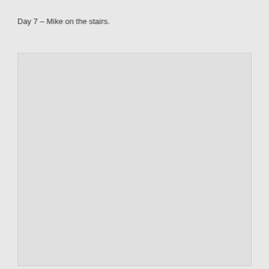Day 7 – Mike on the stairs.
[Figure (photo): A large rectangular photo placeholder showing a light gray empty image area with a thin white/light border, occupying most of the lower portion of the page.]